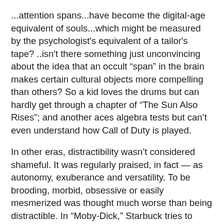...attention spans...have become the digital-age equivalent of souls...which might be measured by the psychologist's equivalent of a tailor's tape? ..isn't there something just unconvincing about the idea that an occult “span” in the brain makes certain cultural objects more compelling than others? So a kid loves the drums but can hardly get through a chapter of “The Sun Also Rises”; and another aces algebra tests but can’t even understand how Call of Duty is played.
In other eras, distractibility wasn’t considered shameful. It was regularly praised, in fact — as autonomy, exuberance and versatility. To be brooding, morbid, obsessive or easily mesmerized was thought much worse than being distractible. In “Moby-Dick,” Starbuck tries to distract Ahab from his monomania with evocations of family life in Nantucket...sitting silently without fidgeting: that’s essentially what we want of children with bum attention spans, isn’t it? The first virtue that distractible children...